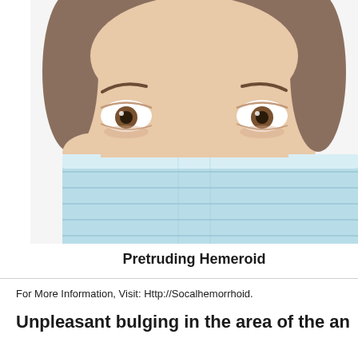[Figure (photo): Close-up photo of a person wearing a light blue surgical/medical face mask, showing eyes and forehead clearly against a white background.]
Pretruding Hemeroid
For More Information, Visit: Http://Socalhemorrhoid.
Unpleasant bulging in the area of the an